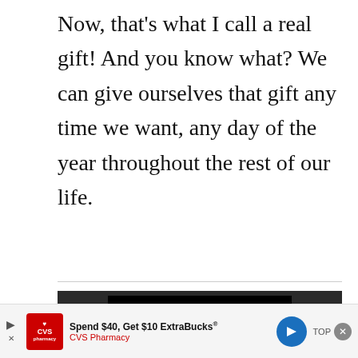Now, that’s what I call a real gift! And you know what? We can give ourselves that gift any time we want, any day of the year throughout the rest of our life.
[Figure (screenshot): Video player error screen showing a play icon and the message: 'The video cannot be played in this browser. (Error Code: 242632)']
During the holiday season, we get very
[Figure (other): CVS Pharmacy advertisement banner: 'Spend $40, Get $10 ExtraBucks® — CVS Pharmacy' with play controls and close button]